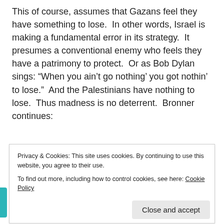This of course, assumes that Gazans feel they have something to lose.  In other words, Israel is making a fundamental error in its strategy.  It presumes a conventional enemy who feels they have a patrimony to protect.  Or as Bob Dylan sings: “When you ain’t go nothing’ you got nothin’ to lose.”  And the Palestinians have nothing to lose.  Thus madness is no deterrent.  Bronner continues:
“ It is a calculated rage. The phrase comes from business and refers to a decision by a
Privacy & Cookies: This site uses cookies. By continuing to use this website, you agree to their use.
To find out more, including how to control cookies, see here: Cookie Policy
The Palestinians in Gaza got the message on